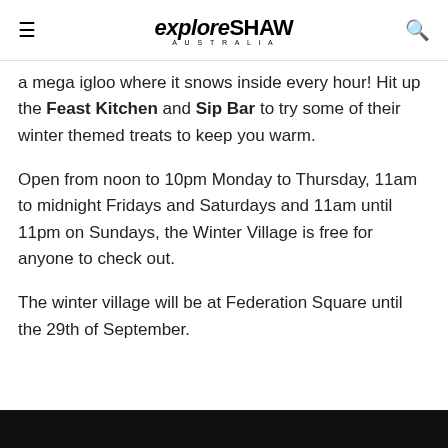explore SHAW AUSTRALIA
a mega igloo where it snows inside every hour! Hit up the Feast Kitchen and Sip Bar to try some of their winter themed treats to keep you warm.
Open from noon to 10pm Monday to Thursday, 11am to midnight Fridays and Saturdays and 11am until 11pm on Sundays, the Winter Village is free for anyone to check out.
The winter village will be at Federation Square until the 29th of September.
[Figure (photo): Black bar at bottom of page, partial image]